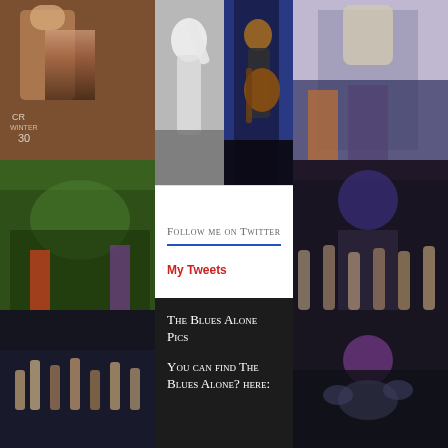[Figure (photo): Background collage of concert crowd photos on left and right sides of page]
[Figure (photo): Black and white photo of a performer on stage]
[Figure (photo): Color photo of a guitarist playing on stage]
Follow me on Twitter
My Tweets
The Blues Alone Pics
You can find The Blues Alone? here: